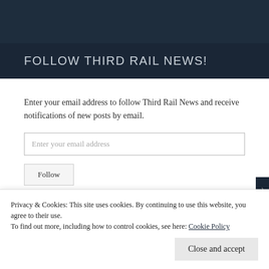FOLLOW THIRD RAIL NEWS!
Enter your email address to follow Third Rail News and receive notifications of new posts by email.
Enter your email address
Follow
Privacy & Cookies: This site uses cookies. By continuing to use this website, you agree to their use.
To find out more, including how to control cookies, see here: Cookie Policy
Close and accept